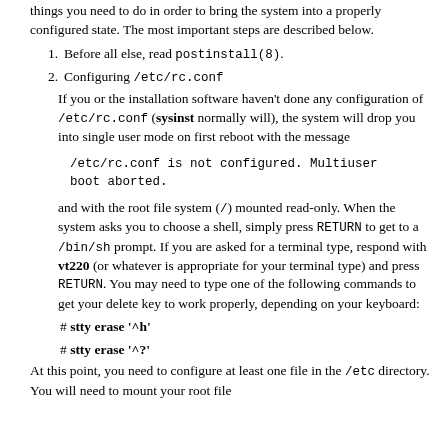things you need to do in order to bring the system into a properly configured state. The most important steps are described below.
1. Before all else, read postinstall(8).
2. Configuring /etc/rc.conf
If you or the installation software haven't done any configuration of /etc/rc.conf (sysinst normally will), the system will drop you into single user mode on first reboot with the message
/etc/rc.conf is not configured. Multiuser boot aborted.
and with the root file system (/) mounted read-only. When the system asks you to choose a shell, simply press RETURN to get to a /bin/sh prompt. If you are asked for a terminal type, respond with vt220 (or whatever is appropriate for your terminal type) and press RETURN. You may need to type one of the following commands to get your delete key to work properly, depending on your keyboard:
# stty erase '^h'
# stty erase '^?'
At this point, you need to configure at least one file in the /etc directory. You will need to mount your root file